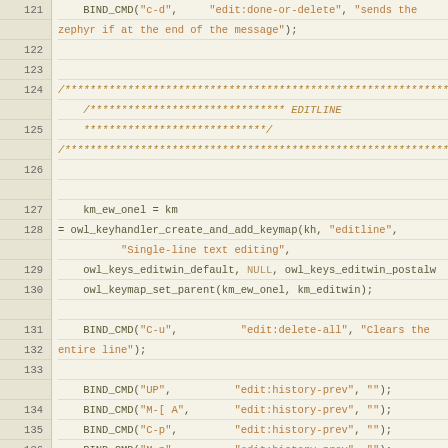[Figure (screenshot): Source code listing with line numbers 121-146 showing C code for key bindings including BIND_CMD calls and keymap creation for editline functionality]